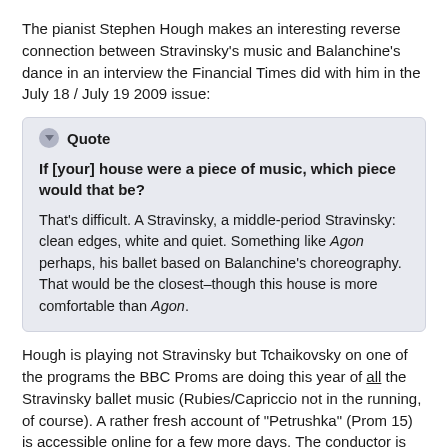The pianist Stephen Hough makes an interesting reverse connection between Stravinsky's music and Balanchine's dance in an interview the Financial Times did with him in the July 18 / July 19 2009 issue:
Quote
If [your] house were a piece of music, which piece would that be?
That's difficult. A Stravinsky, a middle-period Stravinsky: clean edges, white and quiet. Something like Agon perhaps, his ballet based on Balanchine's choreography. That would be the closest–though this house is more comfortable than Agon.
Hough is playing not Stravinsky but Tchaikovsky on one of the programs the BBC Proms are doing this year of all the Stravinsky ballet music (Rubies/Capriccio not in the running, of course). A rather fresh account of "Petrushka" (Prom 15) is accessible online for a few more days. The conductor is Jiří Bělohlávek, with the BBC Symphony Orchestra.